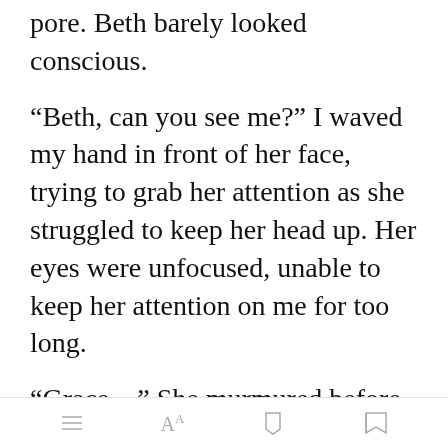pore. Beth barely looked conscious.
“Beth, can you see me?” I waved my hand in front of her face, trying to grab her attention as she struggled to keep her head up. Her eyes were unfocused, unable to keep her attention on me for too long.
“Grace…” She murmured before going silent. Every last bit of her
Open in app